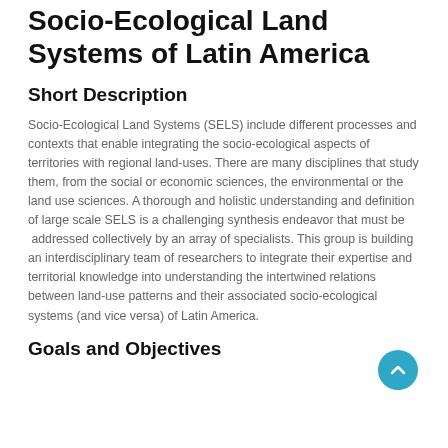Socio-Ecological Land Systems of Latin America
Short Description
Socio-Ecological Land Systems (SELS) include different processes and contexts that enable integrating the socio-ecological aspects of territories with regional land-uses. There are many disciplines that study them, from the social or economic sciences, the environmental or the land use sciences. A thorough and holistic understanding and definition of large scale SELS is a challenging synthesis endeavor that must be addressed collectively by an array of specialists. This group is building an interdisciplinary team of researchers to integrate their expertise and territorial knowledge into understanding the intertwined relations between land-use patterns and their associated socio-ecological systems (and vice versa) of Latin America.
Goals and Objectives